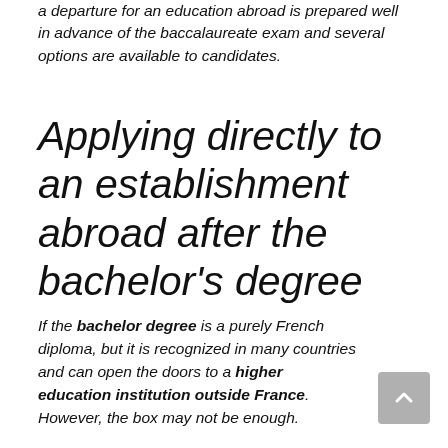a departure for an education abroad is prepared well in advance of the baccalaureate exam and several options are available to candidates.
Applying directly to an establishment abroad after the bachelor's degree
If the bachelor degree is a purely French diploma, but it is recognized in many countries and can open the doors to a higher education institution outside France. However, the box may not be enough.